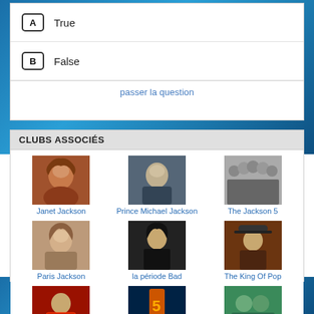A  True
B  False
passer la question
CLUBS ASSOCIÉS
[Figure (photo): Janet Jackson portrait photo]
Janet Jackson
[Figure (photo): Prince Michael Jackson portrait photo]
Prince Michael Jackson
[Figure (photo): The Jackson 5 group photo, black and white]
The Jackson 5
[Figure (photo): Paris Jackson portrait photo]
Paris Jackson
[Figure (photo): Michael Jackson la période Bad photo]
la période Bad
[Figure (photo): Michael Jackson The King Of Pop photo with hat]
The King Of Pop
[Figure (photo): Michael Jackson The Thriller Era photo]
The Thriller Era
[Figure (photo): MJ's This is it concert photo]
MJ's This is it
[Figure (photo): the jackson 3 group photo]
the jackson 3
plus de clubs >>